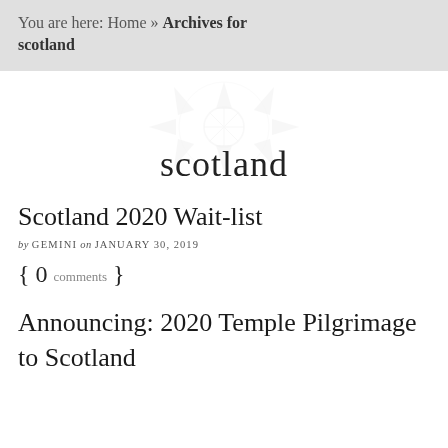You are here: Home » Archives for scotland
[Figure (logo): Compass rose watermark logo with the word 'scotland' below it]
Scotland 2020 Wait-list
by GEMINI on JANUARY 30, 2019
{ 0 comments }
Announcing: 2020 Temple Pilgrimage to Scotland